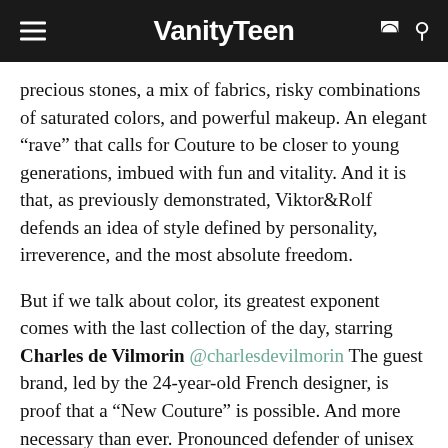VanityTeen
precious stones, a mix of fabrics, risky combinations of saturated colors, and powerful makeup. An elegant “rave” that calls for Couture to be closer to young generations, imbued with fun and vitality. And it is that, as previously demonstrated, Viktor&Rolf defends an idea of style defined by personality, irreverence, and the most absolute freedom.
But if we talk about color, its greatest exponent comes with the last collection of the day, starring Charles de Vilmorin @charlesdevilmorin The guest brand, led by the 24-year-old French designer, is proof that a “New Couture” is possible. And more necessary than ever. Pronounced defender of unisex fashion, his collection is possibly the most theatrical of those presented during this week. A new way of understanding Couture that moves